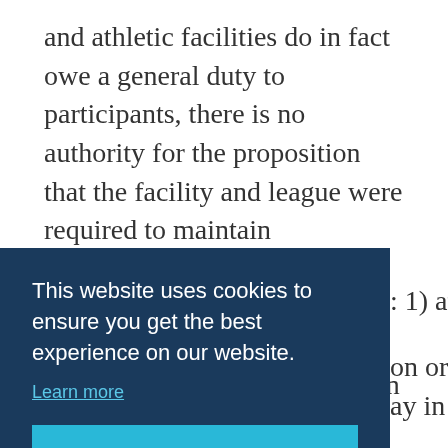and athletic facilities do in fact owe a general duty to participants, there is no authority for the proposition that the facility and league were required to maintain resuscitation equipment or a medically trained staff during adult league basketball games. Following Hernandez's death in December 2002, the state of New York passed specific legislation requiring every health club in the state with membership of at least 500 persons to
[Figure (screenshot): Cookie consent banner overlay with dark navy background. Text reads 'This website uses cookies to ensure you get the best experience on our website.' with a 'Learn more' link and a cyan 'Got it!' button.]
different. To demonstrate the impact that new